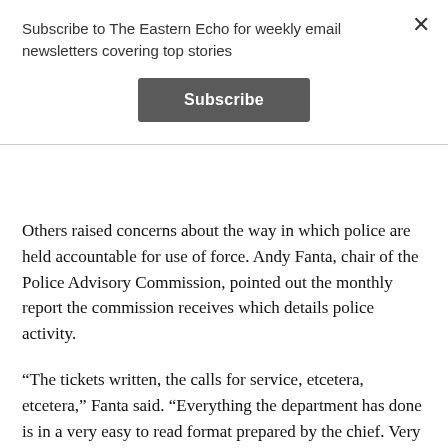Subscribe to The Eastern Echo for weekly email newsletters covering top stories
Subscribe
Others raised concerns about the way in which police are held accountable for use of force. Andy Fanta, chair of the Police Advisory Commission, pointed out the monthly report the commission receives which details police activity.
“The tickets written, the calls for service, etcetera, etcetera,” Fanta said. “Everything the department has done is in a very easy to read format prepared by the chief. Very clearly marked is a section of the report that